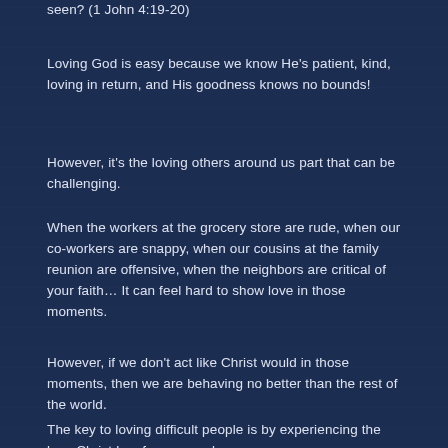seen? (1 John 4:19-20)
Loving God is easy because we know He's patient, kind, loving in return, and His goodness knows no bounds!
However, it's the loving others around us part that can be challenging.
When the workers at the grocery store are rude, when our co-workers are snappy, when our cousins at the family reunion are offensive, when the neighbors are critical of your faith… It can feel hard to show love in those moments.
However, if we don't act like Christ would in those moments, then we are behaving no better than the rest of the world.
The key to loving difficult people is by experiencing the love Christ has for you, and